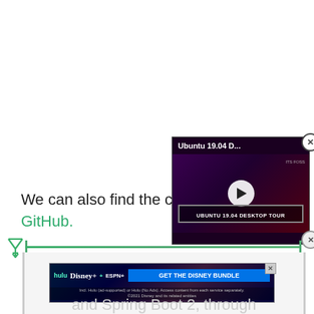We can also find the com… GitHub.
[Figure (screenshot): Video overlay showing 'Ubuntu 19.04 D...' title with a play button and 'UBUNTU 19.04 DESKTOP TOUR' label on a dark purple/red background. Close button (X) in top right.]
[Figure (screenshot): Filter/funnel icon with a green horizontal line extending to the right, forming a filter bar UI element with a close (X) button.]
[Figure (screenshot): Disney Bundle advertisement banner showing Hulu, Disney+, ESPN+ logos with 'GET THE DISNEY BUNDLE' CTA button and fine print text.]
and Spring Boot 2, through